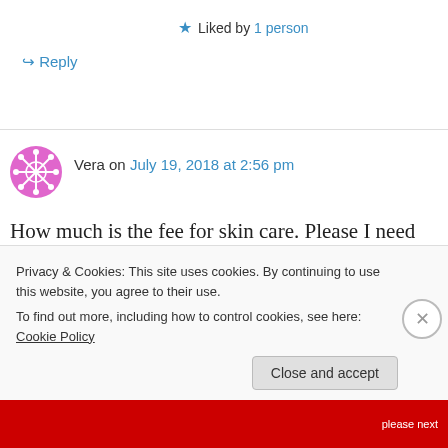Liked by 1 person
↪ Reply
Vera on July 19, 2018 at 2:56 pm
How much is the fee for skin care. Please I need an urgent reply cos I want to start as soon as
Privacy & Cookies: This site uses cookies. By continuing to use this website, you agree to their use.
To find out more, including how to control cookies, see here: Cookie Policy
Close and accept